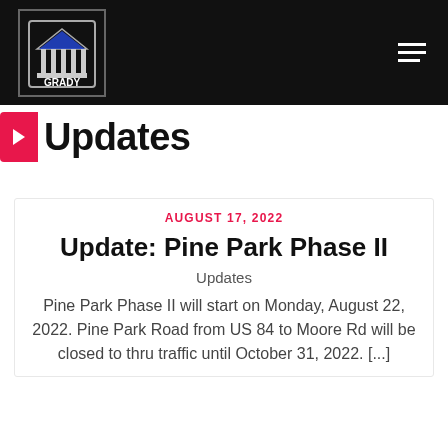[Figure (logo): Grady County logo — white building/columns icon with GRADY text and 'OPPORTUNITY AWAITS' tagline on dark background]
Updates
AUGUST 17, 2022
Update: Pine Park Phase II
Updates
Pine Park Phase II will start on Monday, August 22, 2022. Pine Park Road from US 84 to Moore Rd will be closed to thru traffic until October 31, 2022. [...]